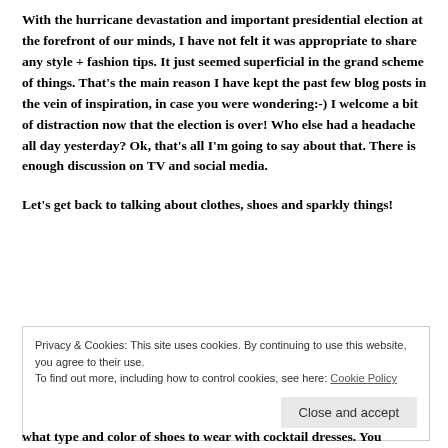With the hurricane devastation and important presidential election at the forefront of our minds, I have not felt it was appropriate to share any style + fashion tips.  It just seemed superficial in the grand scheme of things.  That's the main reason I have kept the past few blog posts in the vein of inspiration, in case you were wondering:-)  I welcome a bit of distraction now that the election is over!  Who else had a headache all day yesterday?  Ok, that's all I'm going to say about that.  There is enough discussion on TV and social media.
Let's get back to talking about clothes, shoes and sparkly things!
Privacy & Cookies: This site uses cookies. By continuing to use this website, you agree to their use.
To find out more, including how to control cookies, see here: Cookie Policy
Close and accept
what type and color of shoes to wear with cocktail dresses.  You